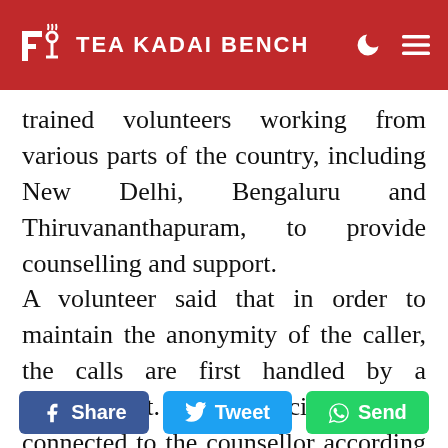Tea Kadai Bench
trained volunteers working from various parts of the country, including New Delhi, Bengaluru and Thiruvananthapuram, to provide counselling and support.
A volunteer said that in order to maintain the anonymity of the caller, the calls are first handled by a psychologist. The beneficiary is then connected to the counsellor according to their preference based on factors such as language and time. The follow-up activities are handled by the psychologist. “Some people are reluctant to speak in the first session. Anonymity